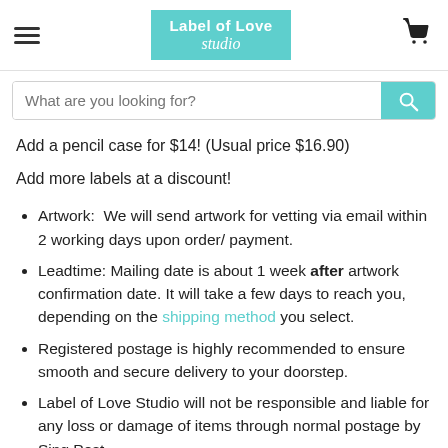Label of Love Studio — navigation header with hamburger menu, logo, and cart icon
What are you looking for? [search bar]
Add a pencil case for $14! (Usual price $16.90)
Add more labels at a discount!
Artwork:  We will send artwork for vetting via email within 2 working days upon order/ payment.
Leadtime: Mailing date is about 1 week after artwork confirmation date. It will take a few days to reach you, depending on the shipping method you select.
Registered postage is highly recommended to ensure smooth and secure delivery to your doorstep.
Label of Love Studio will not be responsible and liable for any loss or damage of items through normal postage by Singpost.